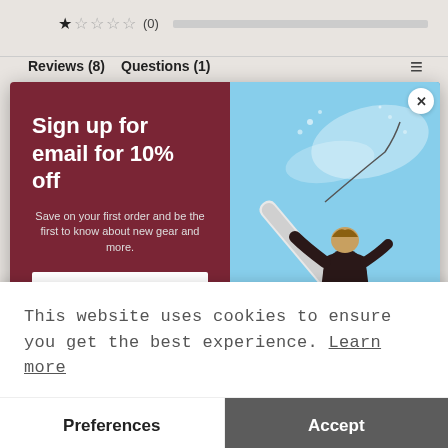[Figure (screenshot): Star rating row with 1 filled star and 4 empty stars, showing (0) reviews and a rating progress bar]
Reviews (8)    Questions (1)
[Figure (screenshot): Email signup modal with dark red left panel and surfer photo on right. Left panel: 'Sign up for email for 10% off', 'Save on your first order and be the first to know about new gear and more.', Email input field, Submit button. Right panel shows a surfer performing aerial maneuver against blue sky. Close X button in top right corner.]
This website uses cookies to ensure you get the best experience. Learn more
Preferences
Accept
I'm a marine scientist who specializes in working with spatial data